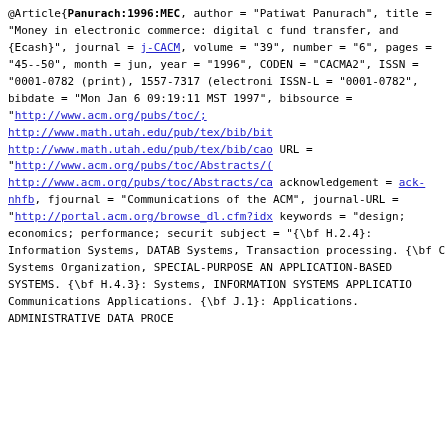@Article{Panurach:1996:MEC, author = "Patiwat Panurach", title = "Money in electronic commerce: digital c fund transfer, and {Ecash}", journal = j-CACM, volume = "39", number = "6", pages = "45--50", month = jun, year = "1996", CODEN = "CACMA2", ISSN = "0001-0782 (print), 1557-7317 (electro ISSN-L = "0001-0782", bibdate = "Mon Jan 6 09:19:11 MST 1997", bibsource = "http://www.acm.org/pubs/toc/; http://www.math.utah.edu/pub/tex/bib/bi http://www.math.utah.edu/pub/tex/bib/ca URL = "http://www.acm.org/pubs/toc/Abstracts/( http://www.acm.org/pubs/toc/Abstracts/ca acknowledgement = ack-nhfb, fjournal = "Communications of the ACM", journal-URL = "http://portal.acm.org/browse_dl.cfm?idx keywords = "design; economics; performance; securi subject = "{\bf H.2.4}: Information Systems, DATAB Systems, Transaction processing. {\bf C Systems Organization, SPECIAL-PURPOSE AN APPLICATION-BASED SYSTEMS. {\bf H.4.3}: Systems, INFORMATION SYSTEMS APPLICATIO Communications Applications. {\bf J.1}: Applications. ADMINISTRATIVE DATA PROCE